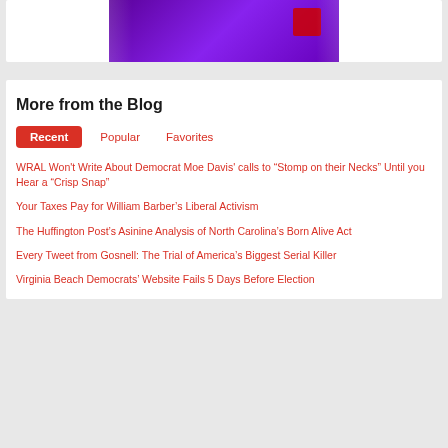[Figure (photo): Purple/violet colored banner image at top of page, partially visible]
More from the Blog
Recent
Popular
Favorites
WRAL Won't Write About Democrat Moe Davis' calls to “Stomp on their Necks” Until you Hear a “Crisp Snap”
Your Taxes Pay for William Barber’s Liberal Activism
The Huffington Post’s Asinine Analysis of North Carolina’s Born Alive Act
Every Tweet from Gosnell: The Trial of America’s Biggest Serial Killer
Virginia Beach Democrats’ Website Fails 5 Days Before Election